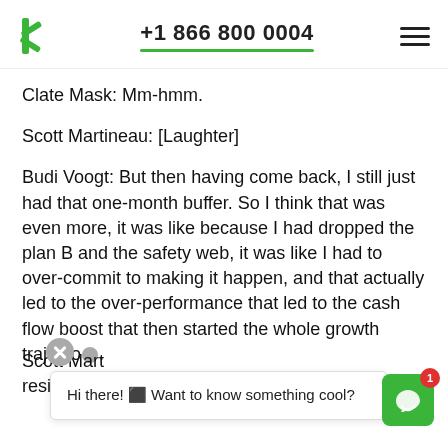+1 866 800 0004
Clate Mask: Mm-hmm.
Scott Martineau: [Laughter]
Budi Voogt: But then having come back, I still just had that one-month buffer. So I think that was even more, it was like because I had dropped the plan B and the safety web, it was like I had to over-commit to making it happen, and that actually led to the over-performance that led to the cash flow boost that then started the whole growth trajectory.
Scott Mart... resilient we are when we sit there and think
Hi there! ⬛ Want to know something cool?